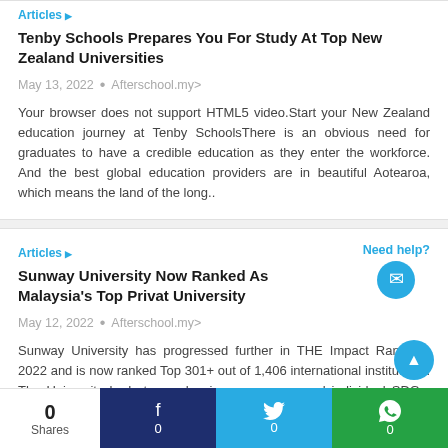Articles ▶
Tenby Schools Prepares You For Study At Top New Zealand Universities
May 13, 2022 • Afterschool.my>
Your browser does not support HTML5 video.Start your New Zealand education journey at Tenby SchoolsThere is an obvious need for graduates to have a credible education as they enter the workforce. And the best global education providers are in beautiful Aotearoa, which means the land of the long..
Articles ▶
Sunway University Now Ranked As Malaysia's Top Privat University
May 12, 2022 • Afterschool.my>
Sunway University has progressed further in THE Impact Rankings 2022 and is now ranked Top 301+ out of 1,406 international institutions. The University had strong showings across several individual SDGs. The University is now ranked Top 200 in SDG 6
0 Shares
f 0
🐦 0
WhatsApp 0